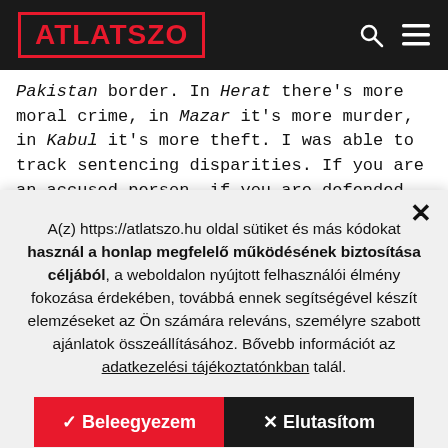ATLATSZO
Pakistan border. In Herat there's more moral crime, in Mazar it's more murder, in Kabul it's more theft. I was able to track sentencing disparities. If you are an accused person, if you are defended and you appeal a
A(z) https://atlatszo.hu oldal sütiket és más kódokat használ a honlap megfelelő működésének biztosítása céljából, a weboldalon nyújtott felhasználói élmény fokozása érdekében, továbbá ennek segítségével készít elemzéseket az Ön számára releváns, személyre szabott ajánlatok összeállításához. Bővebb információt az adatkezelési tájékoztatónkban talál.
✓ Beleegyezem
✕ Elutasítom